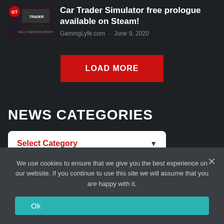[Figure (screenshot): Thumbnail image for Car Trader Simulator article showing game cover art]
Car Trader Simulator free prologue available on Steam!
GamingLyfe.com · June 9, 2020
LOAD MORE
NEWS CATEGORIES
Select Category
We use cookies to ensure that we give you the best experience on our website. If you continue to use this site we will assume that you are happy with it.
Ok